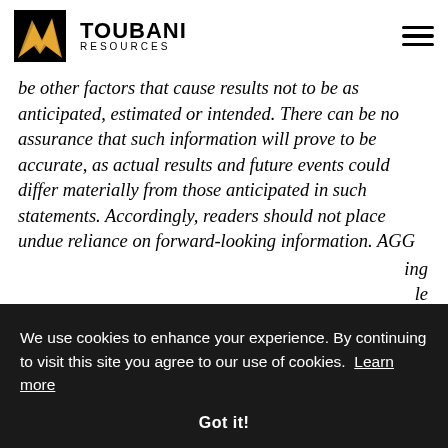TOUBANI RESOURCES
be other factors that cause results not to be as anticipated, estimated or intended. There can be no assurance that such information will prove to be accurate, as actual results and future events could differ materially from those anticipated in such statements. Accordingly, readers should not place undue reliance on forward-looking information. AGG
[partially obscured text] ...ing ...le ...to sell ...curities ...een and will not be registered under the United States
We use cookies to enhance your experience. By continuing to visit this site you agree to our use of cookies. Learn more
Got it!